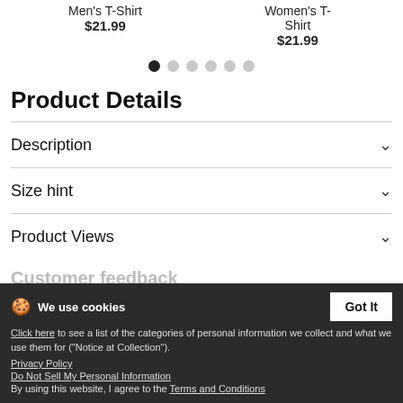Men's T-Shirt
$21.99
Women's T-Shirt
$21.99
[Figure (other): Pagination dots: 6 dots, first filled/active, rest grey]
Product Details
Description
Size hint
Product Views
Customer feedback
Sexy Backside | White
We use cookies
Click here to see a list of the categories of personal information we collect and what we use them for ("Notice at Collection").
Privacy Policy
Do Not Sell My Personal Information
By using this website, I agree to the Terms and Conditions
ra and panties from behind